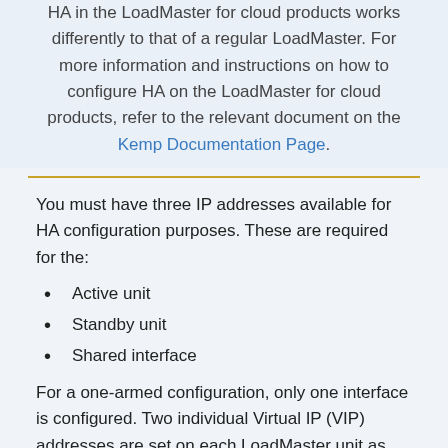HA in the LoadMaster for cloud products works differently to that of a regular LoadMaster. For more information and instructions on how to configure HA on the LoadMaster for cloud products, refer to the relevant document on the Kemp Documentation Page.
You must have three IP addresses available for HA configuration purposes. These are required for the:
Active unit
Standby unit
Shared interface
For a one-armed configuration, only one interface is configured. Two individual Virtual IP (VIP) addresses are set on each LoadMaster unit as their physical IP address; one address for HA-1 and the other for HA-2. The third IP address